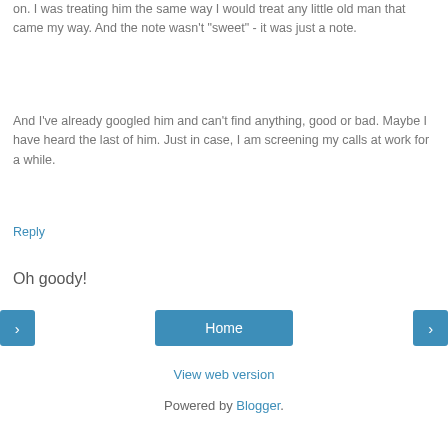on. I was treating him the same way I would treat any little old man that came my way. And the note wasn't "sweet" - it was just a note.
And I've already googled him and can't find anything, good or bad. Maybe I have heard the last of him. Just in case, I am screening my calls at work for a while.
Reply
Oh goody!
[Figure (other): Navigation buttons: left arrow, Home, right arrow]
View web version
Powered by Blogger.